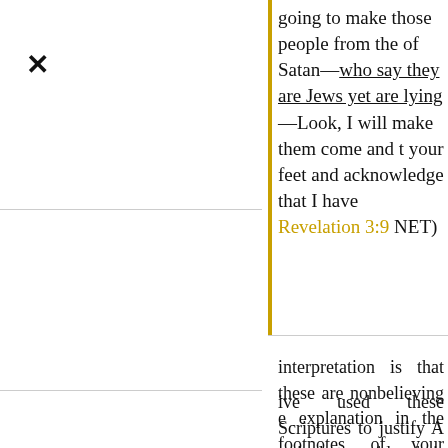X
going to make those people from the of Satan—who say they are Jews yet are lying—Look, I will make them come and t your feet and acknowledge that I have Revelation 3:9 NET)
interpretation is that these are nonbelieving e explanation in the footnotes of your Bible the reasons why some believe the New be anti-Semitic. While it may be true that , the reality is that we don't really know who about. Jesus says they claim to be Jews but :')
ive used these Scriptures to justify Anti- d reconsider their understanding of these repent of their anti-Semitism.